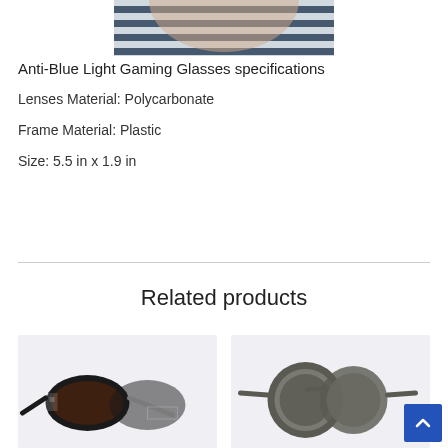[Figure (photo): Partial view of a person wearing striped clothing, cropped at top of page]
Anti-Blue Light Gaming Glasses specifications
Lenses Material: Polycarbonate
Frame Material: Plastic
Size: 5.5 in x 1.9 in
Related products
[Figure (photo): Black and white patterned cat-eye sunglasses on light background]
[Figure (photo): Round grey/olive sunglasses on light background]